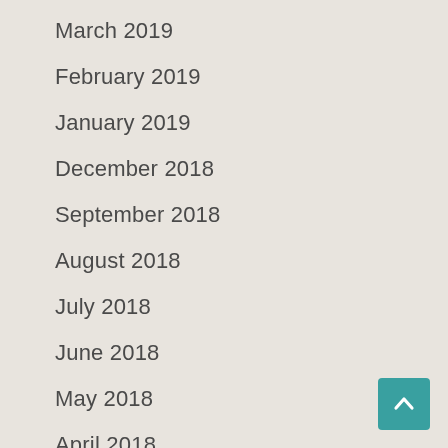March 2019
February 2019
January 2019
December 2018
September 2018
August 2018
July 2018
June 2018
May 2018
April 2018
March 2018
January 2018
December 2017
November 2017
October 2017
September 2017
August 2017